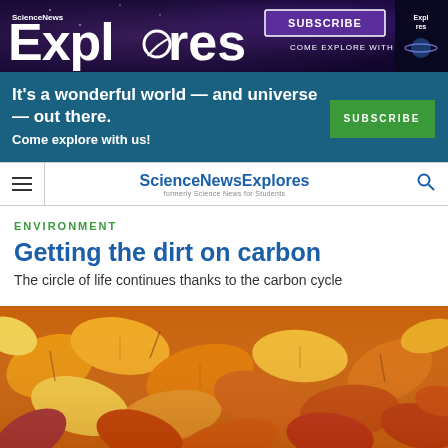[Figure (illustration): Science News Explores advertisement banner with purple galaxy background, logo, subscribe button, and magazine thumbnail]
[Figure (illustration): Subscription promotional bar with teal background, text 'It's a wonderful world — and universe — out there. Come explore with us!' and green SUBSCRIBE button]
ScienceNewsExplores — formerly Science News for Students
ENVIRONMENT
Getting the dirt on carbon
The circle of life continues thanks to the carbon cycle
[Figure (photo): Close-up photograph of autumn fallen leaves in shades of orange, yellow, red and brown covering the ground]